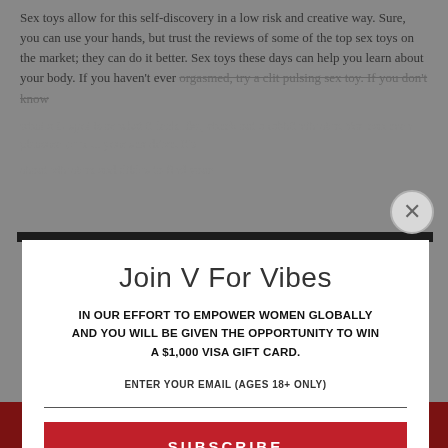Sex toys allow for this self-discovery in a low risk and creative way. Sure, you can use your hands, but trust the reviews of some of the top sex toys on the market; they can do it better. Sex toys these days can help you learn about your body. If you haven't ever orgasmed, try a clit pulsing sex toy. If you don't know what a G-spot is or what it feels like, check out a rabbit vibrator. You can even pleasure your ... there's a clitoris, you know, try to make sexual pleasure can really be as easy as having the right tools. ... In ... The more sex you ... your sex drive. It's as simple as that, because of this, sex toys actually work to help you ... your sex drive by letting you pleasure yourself more, hence ... the key ...
[Figure (other): Modal popup dialog for 'Join V For Vibes' subscription with email input and subscribe button]
Join V For Vibes
IN OUR EFFORT TO EMPOWER WOMEN GLOBALLY AND YOU WILL BE GIVEN THE OPPORTUNITY TO WIN A $1,000 VISA GIFT CARD.
ENTER YOUR EMAIL (AGES 18+ ONLY)
SUBSCRIBE
MIND-BLOWING ORGASMS